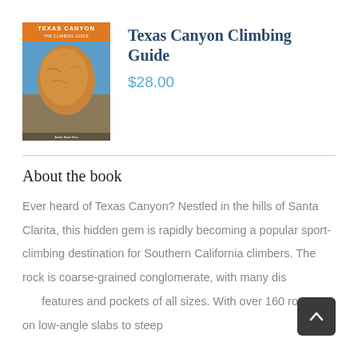[Figure (photo): Book cover of Texas Canyon The Climbing Guide showing a large rounded conglomerate rock formation against a blue sky]
Texas Canyon Climbing Guide
$28.00
About the book
Ever heard of Texas Canyon? Nestled in the hills of Santa Clarita, this hidden gem is rapidly becoming a popular sport-climbing destination for Southern California climbers. The rock is coarse-grained conglomerate, with many distinct features and pockets of all sizes. With over 160 routes on low-angle slabs to steep